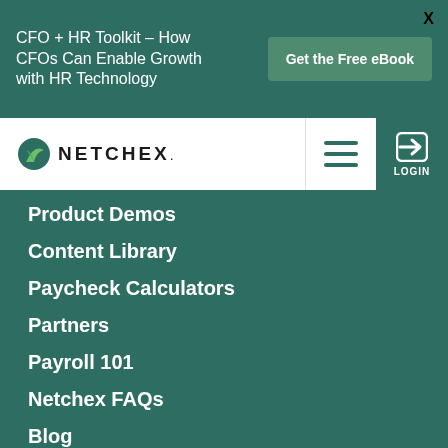CFO + HR Toolkit - How CFOs Can Enable Growth with HR Technology
Get the Free eBook
[Figure (logo): Netchex logo with green leaf icon and bold uppercase NETCHEX wordmark]
Product Demos
Content Library
Paycheck Calculators
Partners
Payroll 101
Netchex FAQs
Blog
Case Studies
Careers
Training Videos